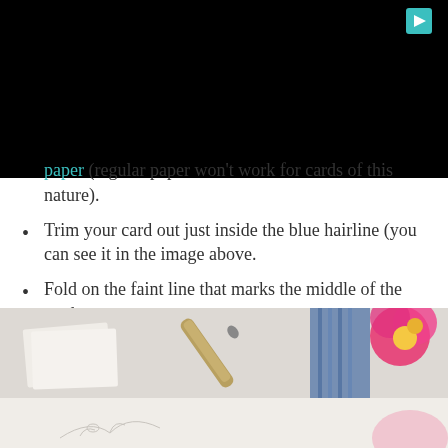[Figure (photo): Black banner at top of page with a teal play button icon in upper right corner]
paper (regular paper won't work for cards of this nature).
Trim your card out just inside the blue hairline (you can see it in the image above.
Fold on the faint line that marks the middle of the card.
Use with an A6 envelope.
[Figure (photo): Photo of a pen, white envelopes, blue patterned ribbon/fabric, and pink flowers on a marble surface, partially cut off at bottom]